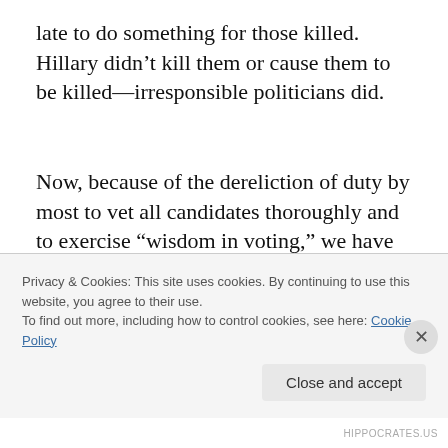late to do something for those killed. Hillary didn’t kill them or cause them to be killed—irresponsible politicians did.
Now, because of the dereliction of duty by most to vet all candidates thoroughly and to exercise “wisdom in voting,” we have to fight off the loss of democracy for all because of the haters in America. Our Freedoms hang in the balance of our time in existence. Rights that have been
Privacy & Cookies: This site uses cookies. By continuing to use this website, you agree to their use.
To find out more, including how to control cookies, see here: Cookie Policy
Close and accept